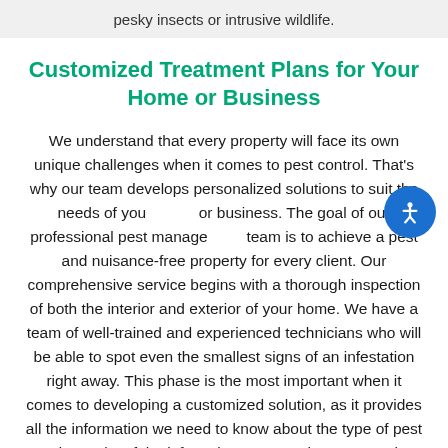pesky insects or intrusive wildlife.
Customized Treatment Plans for Your Home or Business
We understand that every property will face its own unique challenges when it comes to pest control. That's why our team develops personalized solutions to suit the needs of your home or business. The goal of our professional pest management team is to achieve a pest and nuisance-free property for every client. Our comprehensive service begins with a thorough inspection of both the interior and exterior of your home. We have a team of well-trained and experienced technicians who will be able to spot even the smallest signs of an infestation right away. This phase is the most important when it comes to developing a customized solution, as it provides all the information we need to know about the type of pest and severity of the infestation. We can then assess the actions